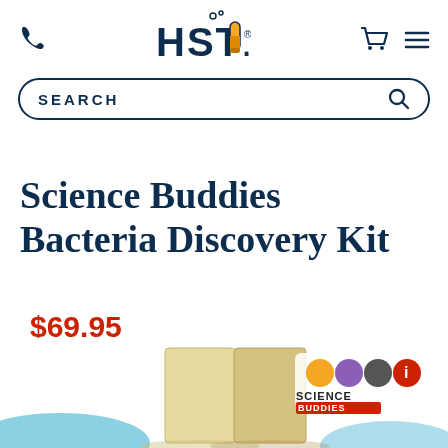HSTI — Science Buddies Bacteria Discovery Kit product page header
[Figure (logo): HSTI logo with test tube graphic and bubbles, flanked by phone icon on the left and cart/menu icons on the right]
[Figure (other): Search bar with SEARCH label and magnifying glass icon, rounded border]
Science Buddies Bacteria Discovery Kit
$69.95
[Figure (photo): Partially visible product photo showing the Science Buddies Bacteria Discovery Kit box with Science Buddies logo/icons visible, and kit contents partially visible at bottom of page]